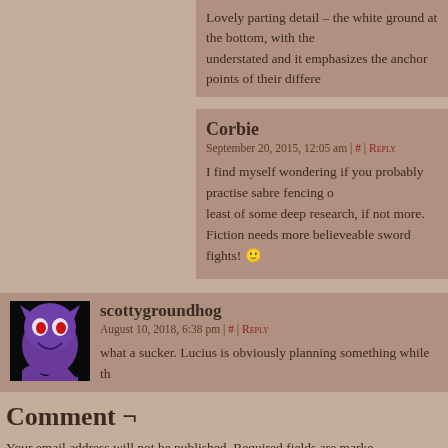Lovely parting detail – the white ground at the bottom, with the understated and it emphasizes the anchor points of their differen
Corbie
September 20, 2015, 12:05 am | # | Reply
I find myself wondering if you probably practise sabre fencing at least of some deep research, if not more.
Fiction needs more believeable sword fights! 🙂
[Figure (photo): Avatar image of scottygroundhog: dark background with a purple ghost/Gengar Pokemon character with red eyes]
scottygroundhog
August 10, 2018, 6:38 pm | # | Reply
what a sucker. Lucius is obviously planning something while th
Comment ¬
Your email address will not be published. Required fields are marke